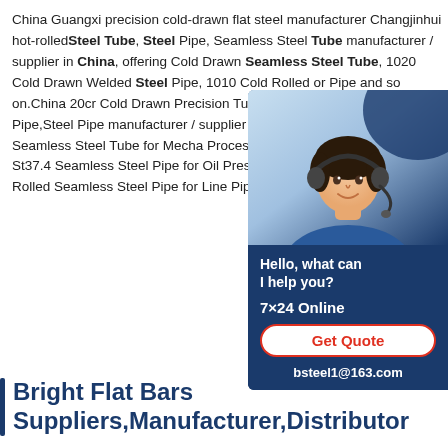China Guangxi precision cold-drawn flat steel manufacturer Changjinhui hot-rolled Steel Tube, Steel Pipe, Seamless Steel Tube manufacturer / supplier in China, offering Cold Drawn Seamless Steel Tube, 1020 Cold Drawn Welded Steel Pipe, 1010 Cold Rolled or Pipe and so on.China 20cr Cold Drawn Precision Tube for Seamless Steel Pipe,Steel Pipe manufacturer / supplier in China,offering Precision Seamless Steel Tube for Mecha Processing,8mm~42mm DIN2391 St37.4 Seamless Steel Pipe for Oil Pressure Tube X42ns,X52n Hot Rolled Seamless Steel Pipe for Line Pipe and so on.
[Figure (photo): Customer service chat widget with a woman wearing a headset, navy blue background, showing 'Hello, what can I help you?', '7×24 Online', 'Get Quote' button, and 'bsteel1@163.com']
Bright Flat Bars Suppliers,Manufacturer,Distributor